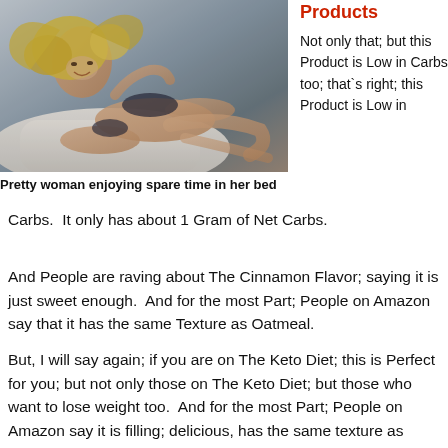[Figure (photo): A pretty woman with blonde hair wearing dark lingerie, reclining on a bed with white pillows and sheets, smiling at the camera.]
Pretty woman enjoying spare time in her bed
Products
Not only that; but this Product is Low in Carbs too; that`s right; this Product is Low in Carbs.  It only has about 1 Gram of Net Carbs.
And People are raving about The Cinnamon Flavor; saying it is just sweet enough.  And for the most Part; People on Amazon say that it has the same Texture as Oatmeal.
But, I will say again; if you are on The Keto Diet; this is Perfect for you; but not only those on The Keto Diet; but those who want to lose weight too.  And for the most Part; People on Amazon say it is filling; delicious, has the same texture as oatmeal. Oatmeal and it is Low in Carbs and High in Protein.